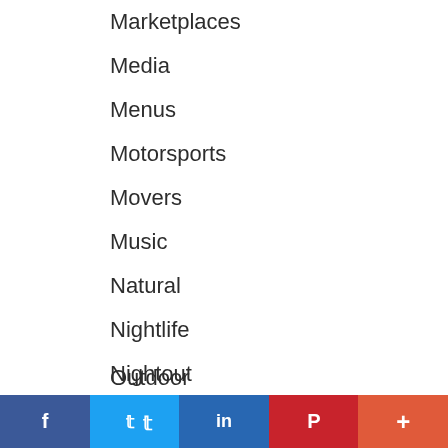Marketplaces
Media
Menus
Motorsports
Movers
Music
Natural
Nightlife
Nightout
Non-profits
Office Space
Oil Changes
Organic
Outdoor
f  t  in  P  +